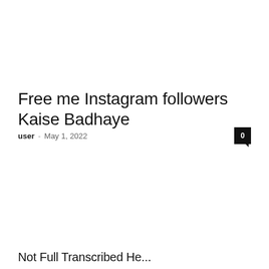Free me Instagram followers Kaise Badhaye
user - May 1, 2022   0
Not Fully Transcribed Header